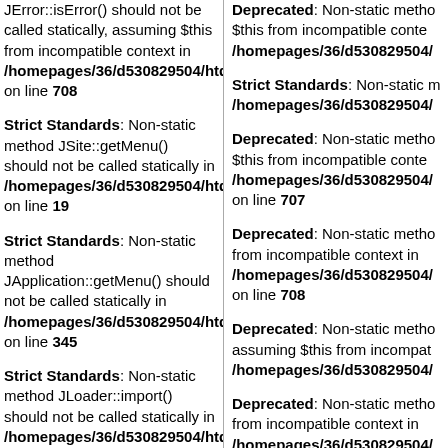JError::isError() should not be called statically, assuming $this from incompatible context in /homepages/36/d530829504/htdocs/a on line 708
Strict Standards: Non-static method JSite::getMenu() should not be called statically in /homepages/36/d530829504/htdocs/a on line 19
Strict Standards: Non-static method JApplication::getMenu() should not be called statically in /homepages/36/d530829504/htdocs/a on line 345
Strict Standards: Non-static method JLoader::import() should not be called statically in /homepages/36/d530829504/htdocs/a on line 186
Strict Standards: Non-static method JMenu::getInstance() should not be called statically in /homepages/36/d530829504/htdocs/a on line 707
Deprecated: Non-static method $this from incompatible context in /homepages/36/d530829504/
Strict Standards: Non-static method /homepages/36/d530829504/
Deprecated: Non-static method $this from incompatible context in /homepages/36/d530829504/ on line 707
Deprecated: Non-static method from incompatible context in /homepages/36/d530829504/ on line 708
Deprecated: Non-static method assuming $this from incompatible /homepages/36/d530829504/
Deprecated: Non-static method from incompatible context in /homepages/36/d530829504/